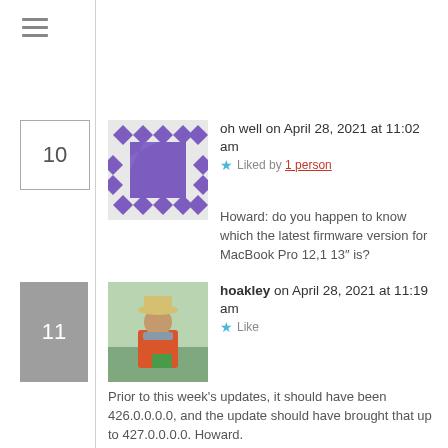[Figure (other): Hamburger menu icon (three horizontal lines)]
oh well on April 28, 2021 at 11:02 am ★ Liked by 1 person
[Figure (illustration): Purple geometric avatar pattern with diamonds and squares]
Howard: do you happen to know which the latest firmware version for MacBook Pro 12,1 13″ is?
hoakley on April 28, 2021 at 11:19 am ★ Like
[Figure (photo): Photo of person wearing a hat and orange jacket outdoors]
Prior to this week's updates, it should have been 426.0.0.0.0, and the update should have brought that up to 427.0.0.0.0. Howard.